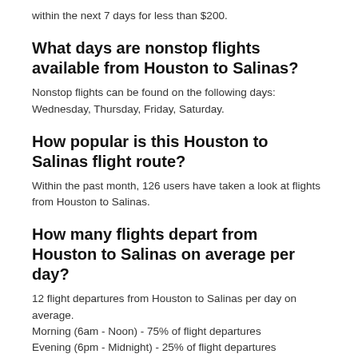within the next 7 days for less than $200.
What days are nonstop flights available from Houston to Salinas?
Nonstop flights can be found on the following days: Wednesday, Thursday, Friday, Saturday.
How popular is this Houston to Salinas flight route?
Within the past month, 126 users have taken a look at flights from Houston to Salinas.
How many flights depart from Houston to Salinas on average per day?
12 flight departures from Houston to Salinas per day on average.
Morning (6am - Noon) - 75% of flight departures
Evening (6pm - Midnight) - 25% of flight departures